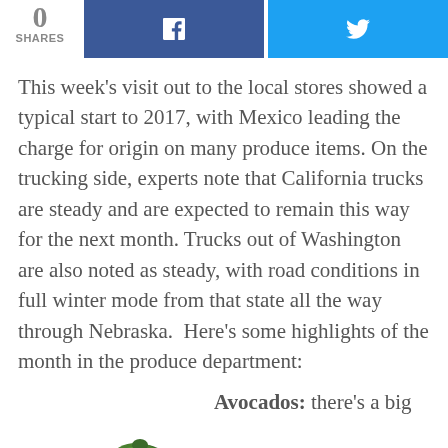[Figure (infographic): Social share bar with 0 shares count, Facebook button (dark blue with f logo), Twitter button (light blue with bird logo)]
This week's visit out to the local stores showed a typical start to 2017, with Mexico leading the charge for origin on many produce items. On the trucking side, experts note that California trucks are steady and are expected to remain this way for the next month. Trucks out of Washington are also noted as steady, with road conditions in full winter mode from that state all the way through Nebraska.  Here's some highlights of the month in the produce department:
Avocados: there's a big
[Figure (photo): Two avocados side by side — one small dark/black avocado on the left and one larger green avocado on the right, on a white background]